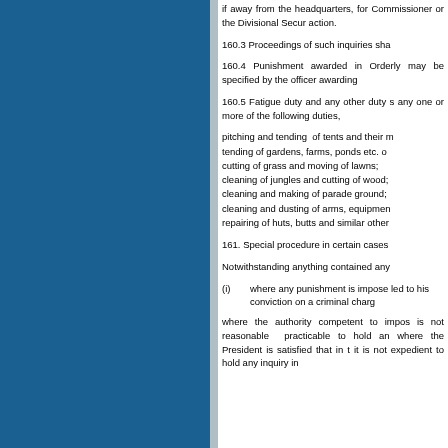if away from the headquarters, for Commissioner or the Divisional Security action.
160.3 Proceedings of such inquiries sha
160.4 Punishment awarded in Orderly may be specified by the officer awarding
160.5 Fatigue duty and any other duty s any one or more of the following duties,
pitching and tending of tents and their m
tending of gardens, farms, ponds etc. o
cutting of grass and moving of lawns;
cleaning of jungles and cutting of wood;
cleaning and making of parade ground;
cleaning and dusting of arms, equipmen
repairing of huts, butts and similar other
161. Special procedure in certain cases
Notwithstanding anything contained any
(i)      where any punishment is impose led to his conviction on a criminal charg
where the authority competent to impos is not reasonable practicable to hold an where the President is satisfied that in t it is not expedient to hold any inquiry in